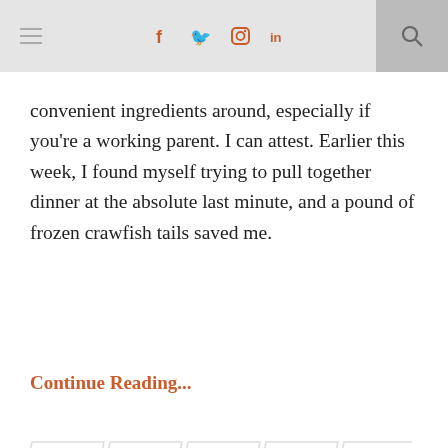≡  f  🐦  📷  in  🔍
convenient ingredients around, especially if you're a working parent. I can attest. Earlier this week, I found myself trying to pull together dinner at the absolute last minute, and a pound of frozen crawfish tails saved me.
Continue Reading...
[Figure (other): Social share bar with parallelogram-shaped buttons for Facebook, Twitter, Pinterest, Google+, and comment icons]
LOUISIANA, ON THE ROAD, SOUTHERN, TRAVELS